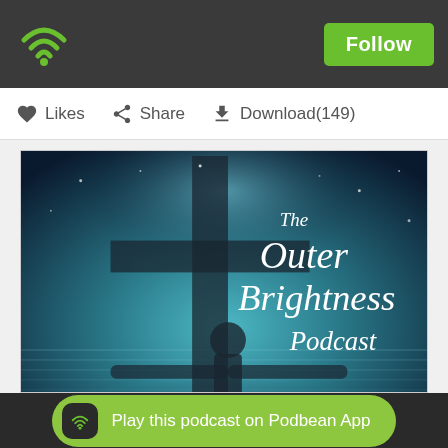[Figure (logo): Podbean app WiFi/streaming icon in top-left of dark header bar]
Follow
♡ Likes  Share  Download(149)
[Figure (illustration): The Outer Brightness Podcast cover art showing a cross and silhouetted figure with light rays on a dark teal background, with stylized italic text 'The Outer Brightness Podcast']
Play this podcast on Podbean App